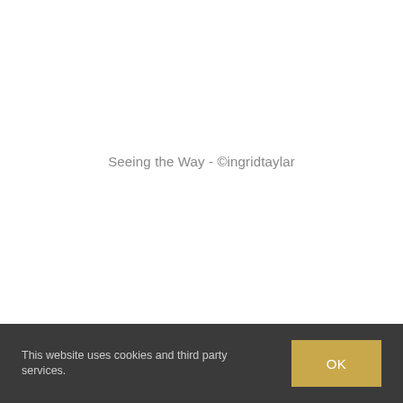Seeing the Way - ©ingridtaylar
This website uses cookies and third party services.
OK